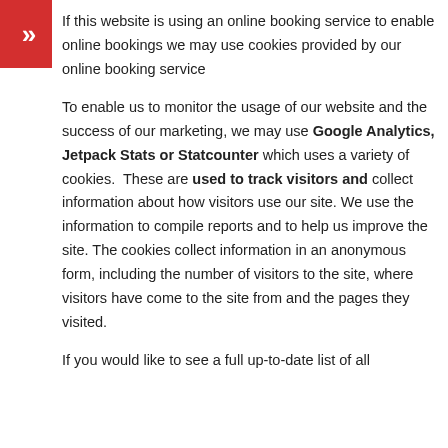If this website is using an online booking service to enable online bookings we may use cookies provided by our online booking service
To enable us to monitor the usage of our website and the success of our marketing, we may use Google Analytics, Jetpack Stats or Statcounter which uses a variety of cookies.  These are used to track visitors and collect information about how visitors use our site. We use the information to compile reports and to help us improve the site. The cookies collect information in an anonymous form, including the number of visitors to the site, where visitors have come to the site from and the pages they visited.
If you would like to see a full up-to-date list of all